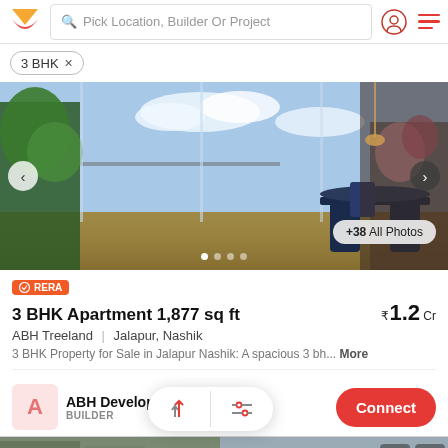Pick Location, Builder Or Project
3 BHK ×
[Figure (photo): Interior photo of a luxury apartment living/dining area with large glass windows opening to a terrace with plants, blue dining chairs, and a city skyline view with clouds]
RERA
3 BHK Apartment 1,877 sq ft
₹1.2 Cr
ABH Treeland  |  Jalapur, Nashik
3 BHK Property for Sale in Jalapur Nashik: A spacious 3 bh... More
ABH Developers  BUILDER
[Figure (photo): Partial view of another property listing image at the bottom of the page]